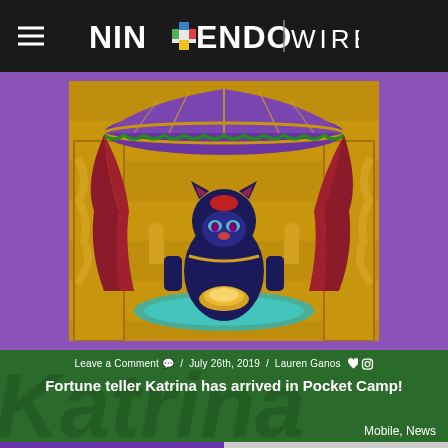Nintendo Wire
[Figure (illustration): Screenshot from Animal Crossing Pocket Camp showing fortune teller Katrina character in an ornate golden temple setting with purple canopy tent, red curtains, and golden decorative sculptures]
Leave a Comment / July 26th, 2019 / Lauren Ganos
Fortune teller Katrina has arrived in Pocket Camp!
Mobile, News